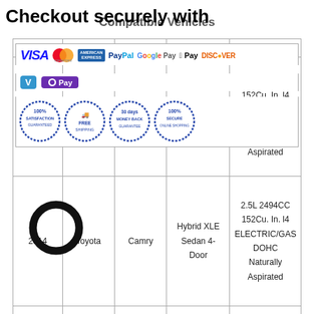Checkout securely with
Compatible Vehicles
[Figure (infographic): Payment method icons: Visa, Mastercard, American Express, PayPal, Google Pay, Apple Pay, Discover, Venmo, OPay, and guarantee badges (100% Satisfaction Guaranteed, Free Shipping, 30 Days Money Back Guarantee, 100% Secure Online Shopping)]
| Year | Make | Model | Trim | Engine |
| --- | --- | --- | --- | --- |
|  |  |  | Hybrid LE Sedan 4-Door | 2.5L 2494CC 152Cu. In. l4 ELECTRIC/GAS DOHC Naturally Aspirated |
| 2014 | Toyota | Camry | Hybrid XLE Sedan 4-Door | 2.5L 2494CC 152Cu. In. l4 ELECTRIC/GAS DOHC Naturally Aspirated |
|  |  |  |  | 2.5L 2494CC 152Cu. In. l4 |